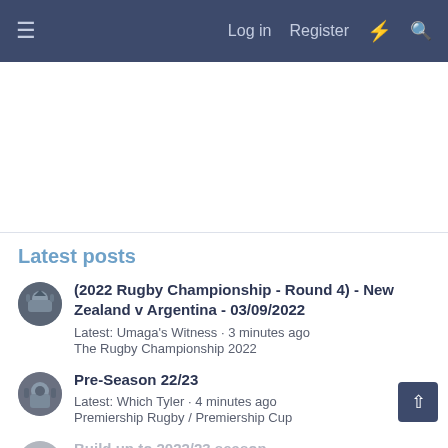≡   Log in   Register   ⚡   🔍
Latest posts
(2022 Rugby Championship - Round 4) - New Zealand v Argentina - 03/09/2022
Latest: Umaga's Witness · 3 minutes ago
The Rugby Championship 2022
Pre-Season 22/23
Latest: Which Tyler · 4 minutes ago
Premiership Rugby / Premiership Cup
Build up to 2022/23 season
Latest: TRF_stormer2010 · 5 minutes ago